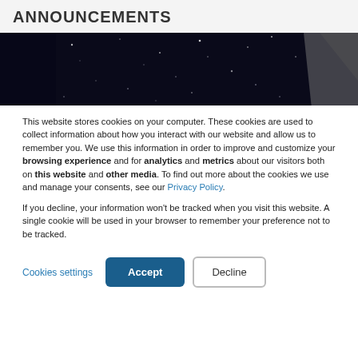ANNOUNCEMENTS
[Figure (screenshot): Dark space-themed banner image with stars/particles on a dark navy/black background, with a geometric grey shape on the right side.]
This website stores cookies on your computer. These cookies are used to collect information about how you interact with our website and allow us to remember you. We use this information in order to improve and customize your browsing experience and for analytics and metrics about our visitors both on this website and other media. To find out more about the cookies we use and manage your consents, see our Privacy Policy.
If you decline, your information won’t be tracked when you visit this website. A single cookie will be used in your browser to remember your preference not to be tracked.
Cookies settings  Accept  Decline